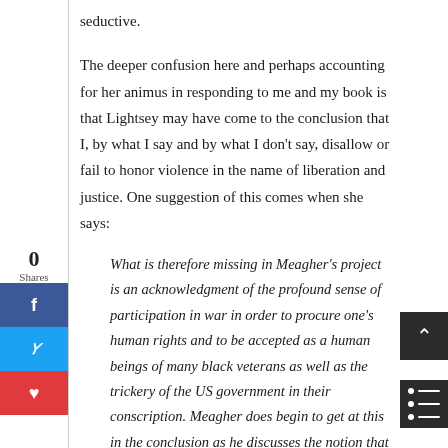seductive.
The deeper confusion here and perhaps accounting for her animus in responding to me and my book is that Lightsey may have come to the conclusion that I, by what I say and by what I don't say, disallow or fail to honor violence in the name of liberation and justice. One suggestion of this comes when she says:
What is therefore missing in Meagher's project is an acknowledgment of the profound sense of participation in war in order to procure one's human rights and to be accepted as a human beings of many black veterans as well as the trickery of the US government in their conscription. Meagher does begin to get at this in the conclusion as he discusses the notion that we have an "all-volunteer army" which is as much a fallacy as just